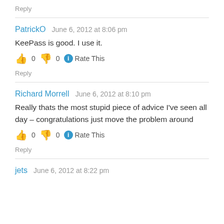Reply
PatrickO   June 6, 2012 at 8:06 pm
KeePass is good. I use it.
👍 0 👎 0 ℹ Rate This
Reply
Richard Morrell   June 6, 2012 at 8:10 pm
Really thats the most stupid piece of advice I've seen all day – congratulations just move the problem around
👍 0 👎 0 ℹ Rate This
Reply
jets   June 6, 2012 at 8:22 pm